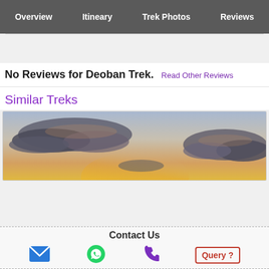Overview  Itineary  Trek Photos  Reviews
No Reviews for Deoban Trek. Read Other Reviews
Similar Treks
[Figure (photo): Sky with clouds at sunset/dusk, warm golden tones]
Contact Us
Email icon | WhatsApp icon | Phone icon | Query ?